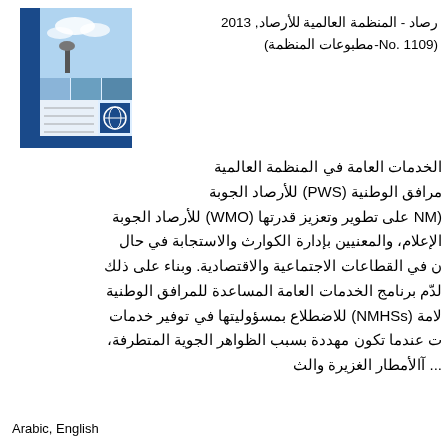[Figure (photo): Book cover image showing weather/meteorology related imagery with a blue design and WMO logo]
رصاد - المنظمة العالمية للأرصاد, 2013 (No. 1109-مطبوعات المنظمة
الخدمات العامة في المنظمة العالمية مرافق الوطنية (PWS) للأرصاد الجوبة (NM على تطوير وتعزيز قدرتها (WMO) للأرصاد الجوبة الإعلام، والمعنيين بإدارة الكوارث والاستجابة في حال ن في القطاعات الاجتماعية والاقتصادية. وبناء على ذلك لدّم برنامج الخدمات العامة المساعدة للمرافق الوطنية لامة (NMHSs) للاضطلاع بمسؤوليتها في توفير خدمات ت عندما تكون مهددة بسبب الظواهر الجوية المتطرفة، ... آالأمطار الغزيرة والث
Arabic, English